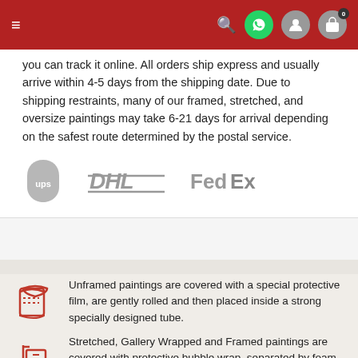Navigation header with menu, search, WhatsApp, user, and cart icons
you can track it online. All orders ship express and usually arrive within 4-5 days from the shipping date. Due to shipping restraints, many of our framed, stretched, and oversize paintings may take 6-21 days for arrival depending on the safest route determined by the postal service.
[Figure (logo): UPS, DHL, and FedEx shipping carrier logos shown in gray]
Unframed paintings are covered with a special protective film, are gently rolled and then placed inside a strong specially designed tube.
Stretched, Gallery Wrapped and Framed paintings are covered with protective bubble wrap, separated by foam board and then